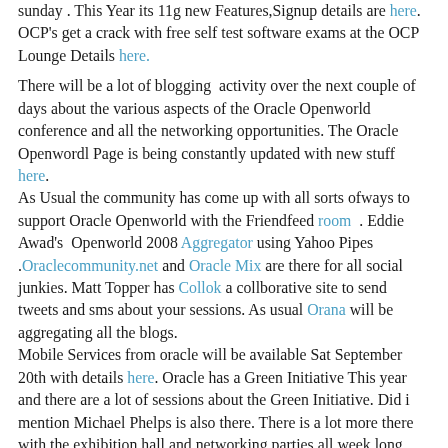sunday . This Year its 11g new Features,Signup details are here. OCP's get a crack with free self test software exams at the OCP Lounge Details here.
There will be a lot of blogging  activity over the next couple of days about the various aspects of the Oracle Openworld conference and all the networking opportunities. The Oracle Openwordl Page is being constantly updated with new stuff here. As Usual the community has come up with all sorts ofways to support Oracle Openworld with the Friendfeed room  . Eddie Awad's  Openworld 2008 Aggregator using Yahoo Pipes .Oraclecommunity.net and Oracle Mix are there for all social junkies. Matt Topper has Collok a collborative site to send tweets and sms about your sessions. As usual Orana will be aggregating all the blogs. Mobile Services from oracle will be available Sat September 20th with details here. Oracle has a Green Initiative This year and there are a lot of sessions about the Green Initiative. Did i mention Michael Phelps is also there. There is a lot more there with the exhibition hall and networking parties all week long.
I dont know how to clone myself to attend all the interestign